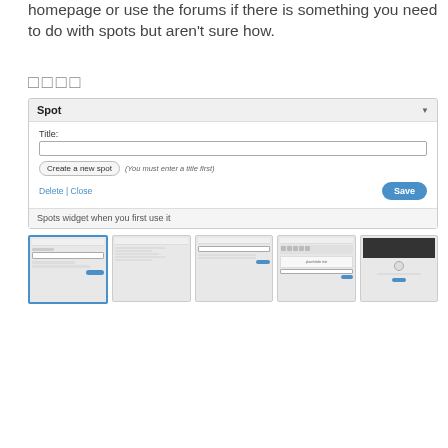homepage or use the forums if there is something you need to do with spots but aren't sure how.
□□□□
[Figure (screenshot): Screenshot of a Spots widget UI showing a panel with Title field, Create a new spot button, (You must enter a title first) hint, Delete | Close links, and a Save button. Below the panel is a caption 'Spots widget when you first use it' and a row of 5 thumbnail screenshots.]